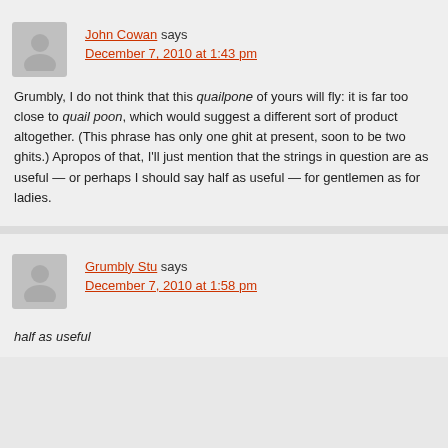John Cowan says
December 7, 2010 at 1:43 pm
Grumbly, I do not think that this quailpone of yours will fly: it is far too close to quail poon, which would suggest a different sort of product altogether. (This phrase has only one ghit at present, soon to be two ghits.) Apropos of that, I'll just mention that the strings in question are as useful — or perhaps I should say half as useful — for gentlemen as for ladies.
Grumbly Stu says
December 7, 2010 at 1:58 pm
half as useful